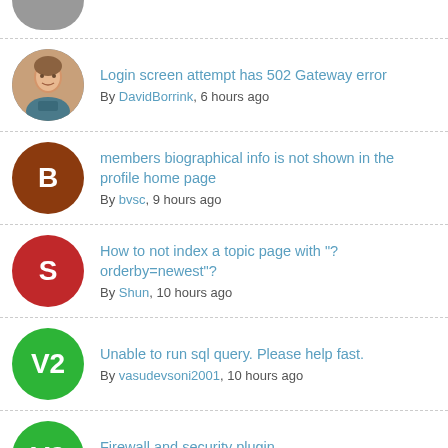Login screen attempt has 502 Gateway error
By DavidBorrink, 6 hours ago
members biographical info is not shown in the profile home page
By bvsc, 9 hours ago
How to not index a topic page with "?orderby=newest"?
By Shun, 10 hours ago
Unable to run sql query. Please help fast.
By vasudevsoni2001, 10 hours ago
Firewall and security plugin
By vasudevsoni2001, 11 hours ago